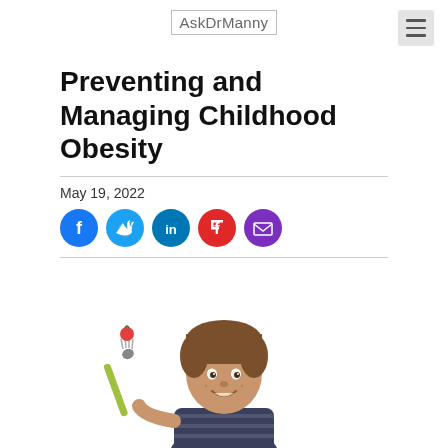AskDrManny
Preventing and Managing Childhood Obesity
May 19, 2022
[Figure (photo): Young boy smiling, holding a fork with a cherry tomato, wearing a striped shirt, white background]
[Figure (infographic): Social sharing icons: Facebook (blue), Twitter (light blue), LinkedIn (blue), Flipboard (red), Email (purple)]